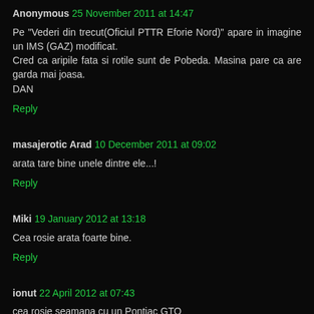Anonymous 25 November 2011 at 14:47
Pe "Vederi din trecut(Oficiul PTTR Eforie Nord)" apare in imagine un IMS (GAZ) modificat.
Cred ca aripile fata si rotile sunt de Pobeda. Masina pare ca are garda mai joasa.
DAN
Reply
masajerotic Arad  10 December 2011 at 09:02
arata tare bine unele dintre ele...!
Reply
Miki  19 January 2012 at 13:18
Cea rosie arata foarte bine.
Reply
ionut  22 April 2012 at 07:43
cea rosie seamana cu un Pontiac GTO
Reply